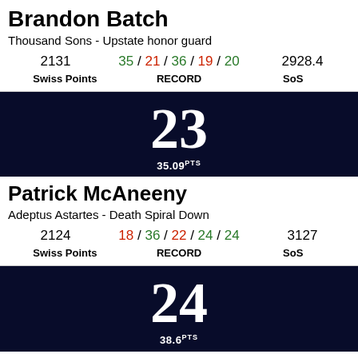Brandon Batch
Thousand Sons - Upstate honor guard
| Swiss Points | RECORD | SoS |
| --- | --- | --- |
| 2131 | 35 / 21 / 36 / 19 / 20 | 2928.4 |
23
35.09pts
Patrick McAneeny
Adeptus Astartes - Death Spiral Down
| Swiss Points | RECORD | SoS |
| --- | --- | --- |
| 2124 | 18 / 36 / 22 / 24 / 24 | 3127 |
24
38.6pts
Joseph Demastrie
Ynnari - The Sector